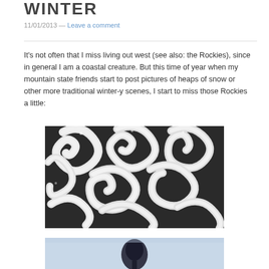WINTER
11/01/2013 — Leave a comment
It's not often that I miss living out west (see also: the Rockies), since in general I am a coastal creature. But this time of year when my mountain state friends start to post pictures of heaps of snow or other more traditional winter-y scenes, I start to miss those Rockies a little:
[Figure (photo): Close-up photograph of ornate iron scrollwork covered in snow, showing swirling spiral patterns with white snow filling the curves against a dark metal background]
[Figure (photo): Partial view of a winter scene showing a silhouetted tree against a light blue sky]